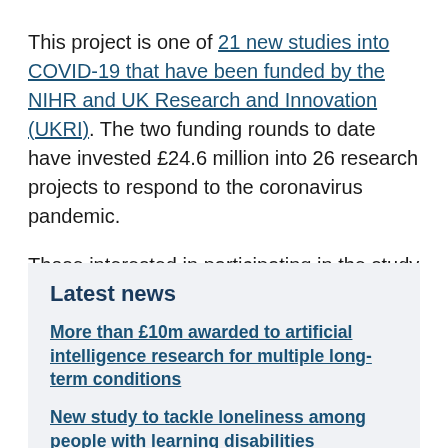This project is one of 21 new studies into COVID-19 that have been funded by the NIHR and UK Research and Innovation (UKRI). The two funding rounds to date have invested £24.6 million into 26 research projects to respond to the coronavirus pandemic.
Those interested in participating in the study can visit the study website to see if the study team are recruiting in their area.
Latest news
More than £10m awarded to artificial intelligence research for multiple long-term conditions
New study to tackle loneliness among people with learning disabilities